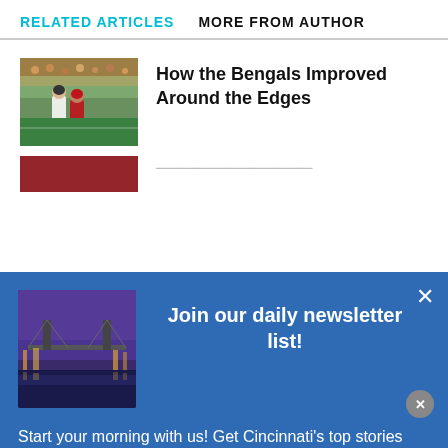RELATED ARTICLES   MORE FROM AUTHOR
[Figure (photo): Football players celebrating a touchdown in a stadium crowd]
How the Bengals Improved Around the Edges
[Figure (photo): Partial view of second article thumbnail]
[Figure (photo): Cincinnati bridge at night with purple sky — newsletter modal image]
Join our daily newsletter list!
Start your morning with us! Get Cincinnati's top stories